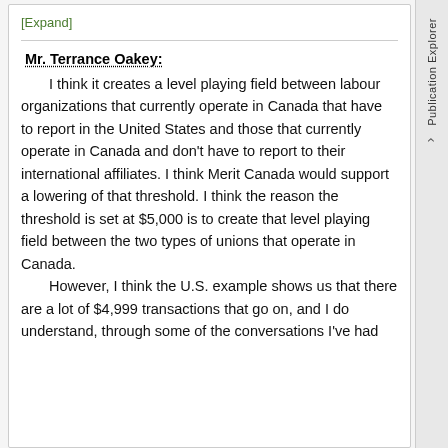[Expand]
Mr. Terrance Oakey:
I think it creates a level playing field between labour organizations that currently operate in Canada that have to report in the United States and those that currently operate in Canada and don't have to report to their international affiliates. I think Merit Canada would support a lowering of that threshold. I think the reason the threshold is set at $5,000 is to create that level playing field between the two types of unions that operate in Canada.
However, I think the U.S. example shows us that there are a lot of $4,999 transactions that go on, and I do understand, through some of the conversations I've had